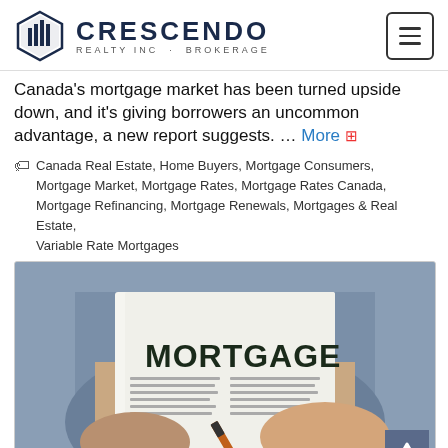CRESCENDO REALTY INC · BROKERAGE
Canada's mortgage market has been turned upside down, and it's giving borrowers an uncommon advantage, a new report suggests. … More
Canada Real Estate, Home Buyers, Mortgage Consumers, Mortgage Market, Mortgage Rates, Mortgage Rates Canada, Mortgage Refinancing, Mortgage Renewals, Mortgages & Real Estate, Variable Rate Mortgages
[Figure (photo): A person in a suit holding and signing a document labelled MORTGAGE in large bold letters]